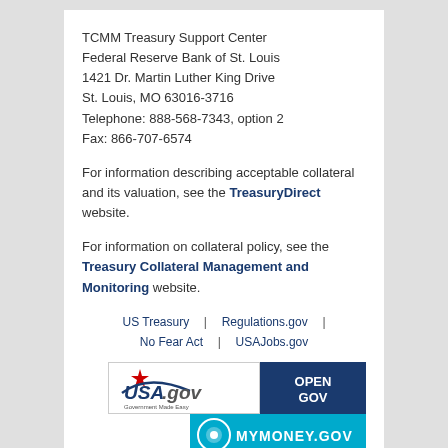TCMM Treasury Support Center
Federal Reserve Bank of St. Louis
1421 Dr. Martin Luther King Drive
St. Louis, MO 63016-3716
Telephone: 888-568-7343, option 2
Fax: 866-707-6574
For information describing acceptable collateral and its valuation, see the TreasuryDirect website.
For information on collateral policy, see the Treasury Collateral Management and Monitoring website.
US Treasury  |  Regulations.gov  |  No Fear Act  |  USAJobs.gov
[Figure (logo): USA.gov Government Made Easy logo badge, OpenGov logo badge, and MyMoney.gov logo badge]